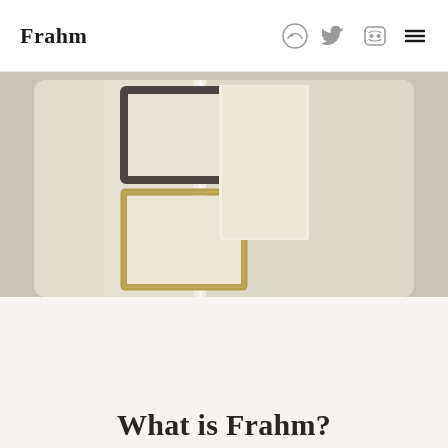Frahm
[Figure (screenshot): Hero image showing picture frames on a wall with cream/beige tones, including a dark wood frame and a gold frame, displayed in a rounded rectangle card on a tan/khaki background.]
What is Frahm?